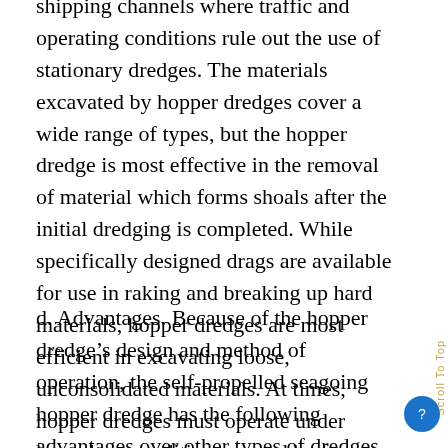shipping channels where traffic and operating conditions rule out the use of stationary dredges. The materials excavated by hopper dredges cover a wide range of types, but the hopper dredge is most effective in the removal of material which forms shoals after the initial dredging is completed. While specifically designed drags are available for use in raking and breaking up hard materials, hopper dredges are most efficient in excavating loose, unconsolidated materials. At times, hopper dredges must operate under hazardous conditions caused by fog, rough seas, and heavy traffic encountered in congested harbors.
d. Advantages. Because of the hopper dredge's design and method of operation, the self-propelled seagoing hopper dredge has the following advantages over other types of dredges for many types of projects: